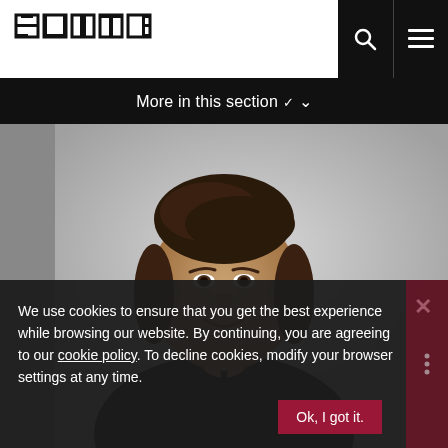SUTRA
More in this section ▼
[Figure (photo): Headshot of a young Asian man in a dark suit and tie, smiling, against a light grey background.]
We use cookies to ensure that you get the best experience while browsing our website. By continuing, you are agreeing to our cookie policy. To decline cookies, modify your browser settings at any time.
Ok, I got it.